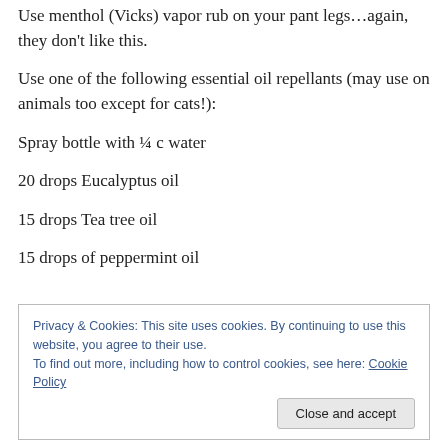Use menthol (Vicks) vapor rub on your pant legs…again, they don't like this.
Use one of the following essential oil repellants (may use on animals too except for cats!):
Spray bottle with ¼ c water
20 drops Eucalyptus oil
15 drops Tea tree oil
15 drops of peppermint oil
Privacy & Cookies: This site uses cookies. By continuing to use this website, you agree to their use. To find out more, including how to control cookies, see here: Cookie Policy